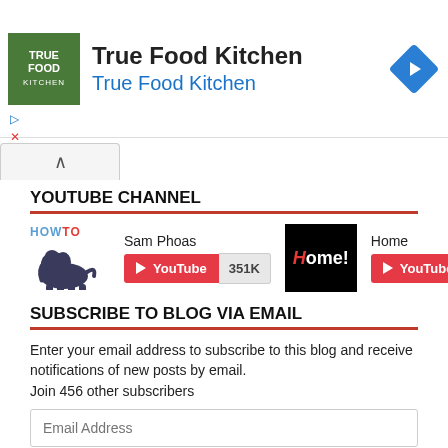[Figure (other): True Food Kitchen advertisement banner with green logo, restaurant name in bold, subtitle in blue, and blue navigation diamond icon]
YOUTUBE CHANNEL
[Figure (other): HowTo elephant logo with Sam Phoas YouTube channel showing 351K subscribers, and Home! channel logo with 29K subscribers]
SUBSCRIBE TO BLOG VIA EMAIL
Enter your email address to subscribe to this blog and receive notifications of new posts by email.
Join 456 other subscribers
Email Address
Subscribe